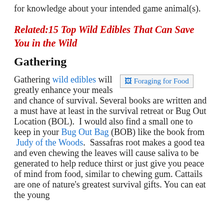for knowledge about your intended game animal(s).
Related:15 Top Wild Edibles That Can Save You in the Wild
Gathering
Gathering wild edibles will greatly enhance your meals and chance of survival. Several books are written and a must have at least in the survival retreat or Bug Out Location (BOL).  I would also find a small one to keep in your Bug Out Bag (BOB) like the book from  Judy of the Woods.  Sassafras root makes a good tea and even chewing the leaves will cause saliva to be generated to help reduce thirst or just give you peace of mind from food, similar to chewing gum. Cattails are one of nature's greatest survival gifts. You can eat the young
[Figure (other): Placeholder image labeled 'Foraging for Food']